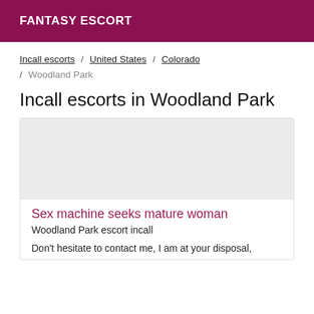FANTASY ESCORT
Incall escorts / United States / Colorado / Woodland Park
Incall escorts in Woodland Park
[Figure (photo): Listing image placeholder, light grey background]
Sex machine seeks mature woman
Woodland Park escort incall
Don't hesitate to contact me, I am at your disposal,